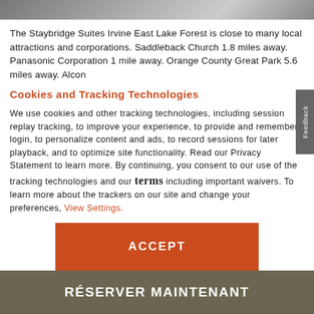[Figure (photo): Top banner image showing a building or hotel exterior, partially visible]
The Staybridge Suites Irvine East Lake Forest is close to many local attractions and corporations. Saddleback Church 1.8 miles away. Panasonic Corporation 1 mile away. Orange County Great Park 5.6 miles away. Alcon
Cookies and Tracking Technologies
We use cookies and other tracking technologies, including session replay tracking, to improve your experience, to provide and remember login, to personalize content and ads, to record sessions for later playback, and to optimize site functionality. Read our Privacy Statement to learn more. By continuing, you consent to our use of the tracking technologies and our terms including important waivers. To learn more about the trackers on our site and change your preferences, View Settings.
[Figure (other): Orange ACCEPT button]
RÉSERVER MAINTENANT